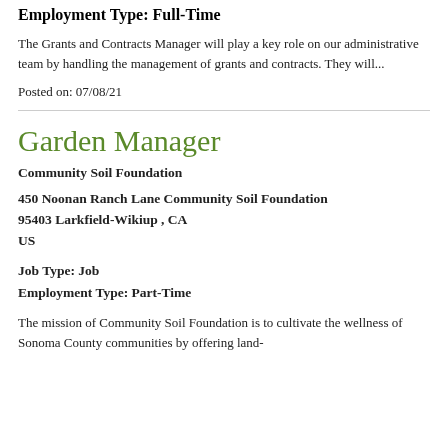Employment Type: Full-Time
The Grants and Contracts Manager will play a key role on our administrative team by handling the management of grants and contracts. They will...
Posted on: 07/08/21
Garden Manager
Community Soil Foundation
450 Noonan Ranch Lane Community Soil Foundation
95403 Larkfield-Wikiup , CA
US
Job Type: Job
Employment Type: Part-Time
The mission of Community Soil Foundation is to cultivate the wellness of Sonoma County communities by offering land-